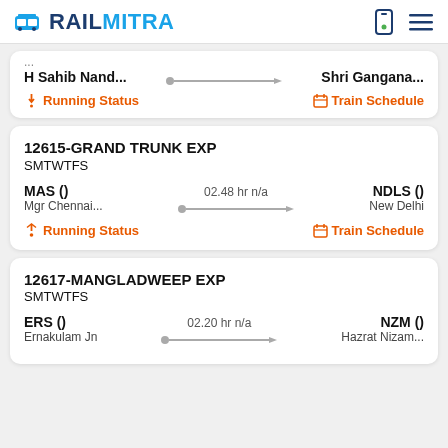RAILMITRA
H Sahib Nand... → Shri Gangana...
Running Status   Train Schedule
12615-GRAND TRUNK EXP
SMTWTFS
MAS ()   02.48 hr n/a   NDLS ()
Mgr Chennai...   New Delhi
Running Status   Train Schedule
12617-MANGLADWEEP EXP
SMTWTFS
ERS ()   02.20 hr n/a   NZM ()
Ernakulam Jn   Hazrat Nizam...